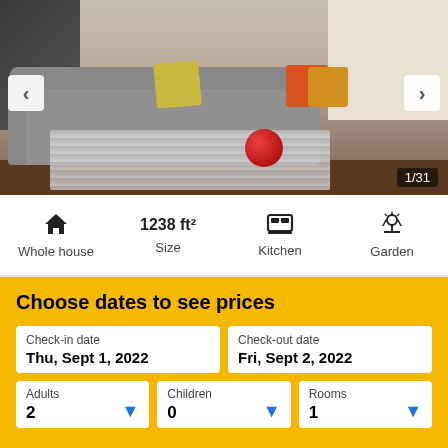[Figure (photo): Interior photo of a living room with a grey sectional sofa, colourful throw pillows (yellow, orange, gold), a patterned rug, a red knit pouf, wooden flooring, stairs on the left and a bookshelf in the background. Navigation arrows on each side and image counter '1/31' in bottom-right corner.]
Whole house
1238 ft²
Kitchen
Garden
Choose dates to see prices
Check-in date
Thu, Sept 1, 2022
Check-out date
Fri, Sept 2, 2022
Adults
2
Children
0
Rooms
1